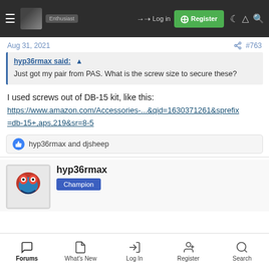Log in | Register — navigation bar
Aug 31, 2021  #763
hyp36rmax said: ↑
Just got my pair from PAS. What is the screw size to secure these?
I used screws out of DB-15 kit, like this:
https://www.amazon.com/Accessories-...&qid=1630371261&sprefix=db-15+,aps,219&sr=8-5
👍 hyp36rmax and djsheep
hyp36rmax
Champion
Forums  What's New  Log In  Register  Search